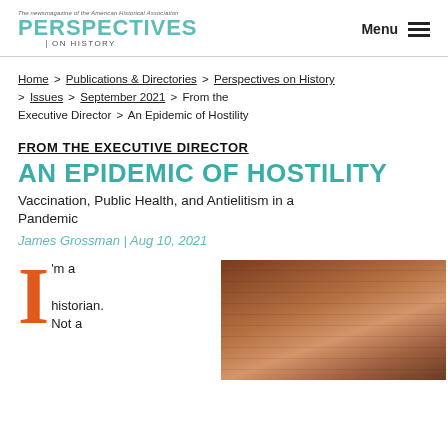The newsmagazine of the American Historical Association — PERSPECTIVES ON HISTORY | Menu
Home > Publications & Directories > Perspectives on History > Issues > September 2021 > From the Executive Director > An Epidemic of Hostility
FROM THE EXECUTIVE DIRECTOR
AN EPIDEMIC OF HOSTILITY
Vaccination, Public Health, and Antielitism in a Pandemic
James Grossman | Aug 10, 2021
I'm a historian. Not a
[Figure (photo): Portrait photograph of a man (James Grossman) against a brick wall background]